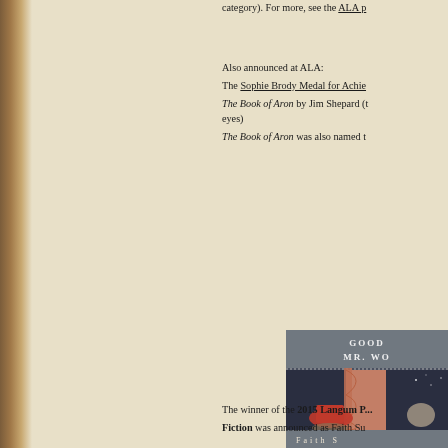category). For more, see the ALA p...
Also announced at ALA:
The Sophie Brody Medal for Achie...
The Book of Aron by Jim Shepard (t... eyes)
The Book of Aron was also named t...
[Figure (illustration): Book cover of 'Goodbye Mr. Wo...' by Faith S..., showing an Art Deco style illustration with a figure in a red dress near pink curtains against a dark starry background.]
The winner of the 2015 Langum P... Fiction was announced as Faith Su...